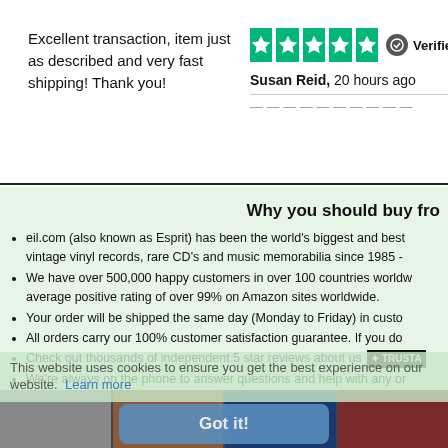Excellent transaction, item just as described and very fast shipping! Thank you!
[Figure (other): Trustpilot 5-star rating with Verified badge and reviewer name Susan Reid, 20 hours ago]
Why you should buy fro
eil.com (also known as Esprit) has been the world's biggest and best vintage vinyl records, rare CD's and music memorabilia since 1985 -
We have over 500,000 happy customers in over 100 countries worldw... average positive rating of over 99% on Amazon sites worldwide.
Your order will be shipped the same day (Monday to Friday) in custo
All orders carry our 100% customer satisfaction guarantee. If you do
Check out thousands of independent 5 star reviews about us [TRUSTPILOT]
We're always on the phone to answer questions and help with any or
We reply to emails in minutes and hours, not days.
It is 100% safe and secure to order from us as we have been indepen... transmitted using 128 bit encryption with 'Extended Validation SSL' a... using the strictest authentication standard. See the padlock symbol s
This website uses cookies to ensure you get the best experience on our website. Learn more
Got it!